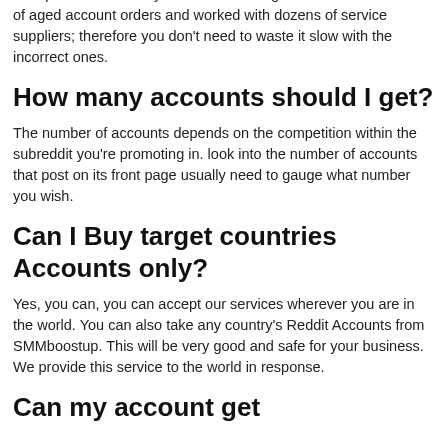supported their quality, responsibility, delivery speed, and price. Service suppliers with the very best score square measure handpicked to deliver your order. We've got delivered thousands of aged account orders and worked with dozens of service suppliers; therefore you don't need to waste it slow with the incorrect ones.
How many accounts should I get?
The number of accounts depends on the competition within the subreddit you're promoting in. look into the number of accounts that post on its front page usually need to gauge what number you wish.
Can I Buy target countries Accounts only?
Yes, you can, you can accept our services wherever you are in the world. You can also take any country's Reddit Accounts from SMMboostup. This will be very good and safe for your business. We provide this service to the world in response.
Can my account get